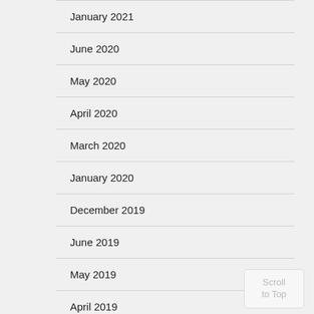January 2021
June 2020
May 2020
April 2020
March 2020
January 2020
December 2019
June 2019
May 2019
April 2019
March 2019
January 2019
Scroll to Top